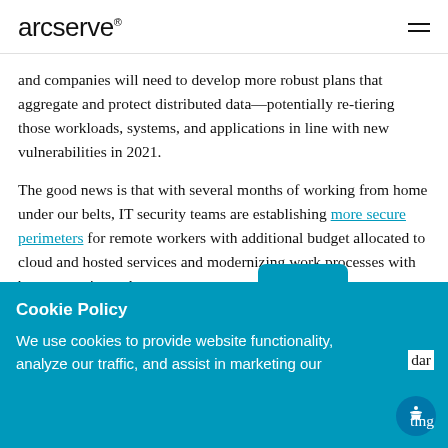arcserve®
and companies will need to develop more robust plans that aggregate and protect distributed data—potentially re-tiering those workloads, systems, and applications in line with new vulnerabilities in 2021.
The good news is that with several months of working from home under our belts, IT security teams are establishing more secure perimeters for remote workers with additional budget allocated to cloud and hosted services and modernizing work processes with better security and governance.
2  Cybersecurity
Cookie Policy
We use cookies to provide website functionality, analyze our traffic, and assist in marketing our